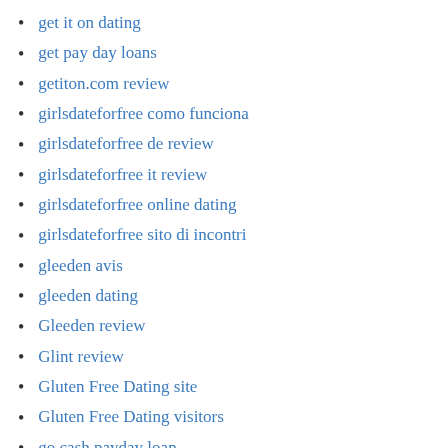get it on dating
get pay day loans
getiton.com review
girlsdateforfree como funciona
girlsdateforfree de review
girlsdateforfree it review
girlsdateforfree online dating
girlsdateforfree sito di incontri
gleeden avis
gleeden dating
Gleeden review
Glint review
Gluten Free Dating site
Gluten Free Dating visitors
go cash payday loan
Good Grief visitors